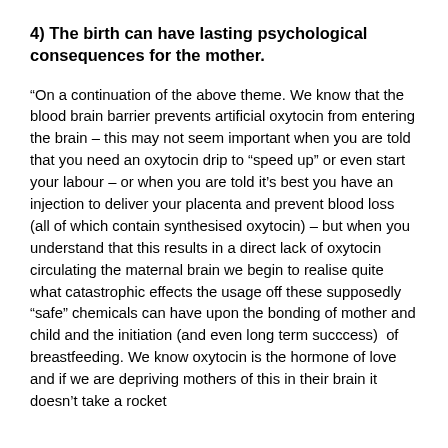4) The birth can have lasting psychological consequences for the mother.
“On a continuation of the above theme. We know that the blood brain barrier prevents artificial oxytocin from entering the brain – this may not seem important when you are told that you need an oxytocin drip to “speed up” or even start your labour – or when you are told it’s best you have an injection to deliver your placenta and prevent blood loss (all of which contain synthesised oxytocin) – but when you understand that this results in a direct lack of oxytocin circulating the maternal brain we begin to realise quite what catastrophic effects the usage off these supposedly “safe” chemicals can have upon the bonding of mother and child and the initiation (and even long term succcess)  of breastfeeding. We know oxytocin is the hormone of love and if we are depriving mothers of this in their brain it doesn’t take a rocket